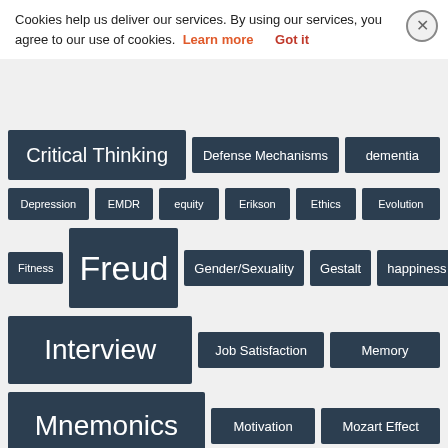Cookies help us deliver our services. By using our services, you agree to our use of cookies. Learn more Got it
Critical Thinking
Defense Mechanisms
dementia
Depression
EMDR
equity
Erikson
Ethics
Evolution
Fitness
Freud
Gender/Sexuality
Gestalt
happiness
Interview
Job Satisfaction
Memory
Mnemonics
Motivation
Mozart Effect
Neurotransmitters
nurses
Parenting/Childcare
Personal Space
persuasion
Piaget
Play Therapy
Popular